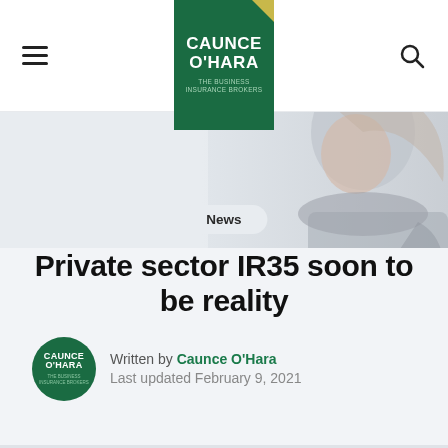Caunce O'Hara – The Business Insurance Brokers
[Figure (photo): Hero image of a woman looking pensive, used as background for the article header area]
News
Private sector IR35 soon to be reality
Written by Caunce O'Hara
Last updated February 9, 2021